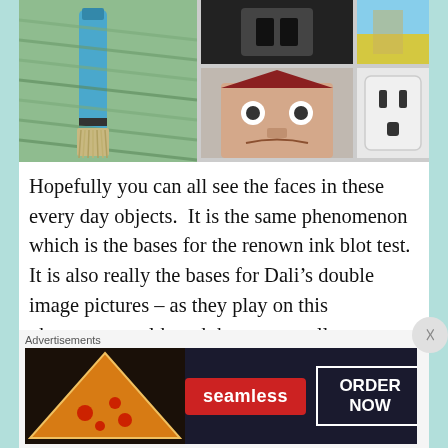[Figure (photo): Grid of photos showing everyday objects with face-like features: yarn and brush (left), dark object top center, yellow field top right, building with face-like windows center, electrical outlet right]
Hopefully you can all see the faces in these every day objects.  It is the same phenomenon which is the bases for the renown ink blot test.  It is also really the bases for Dali’s double image pictures – as they play on this phenomenon although he never really attributed them to this, rather created his own term “paranoia-critical method” which he references in his 1935 essay “The
[Figure (screenshot): Advertisement banner: Seamless food delivery service with pizza image on left, red Seamless logo, and ORDER NOW button on right]